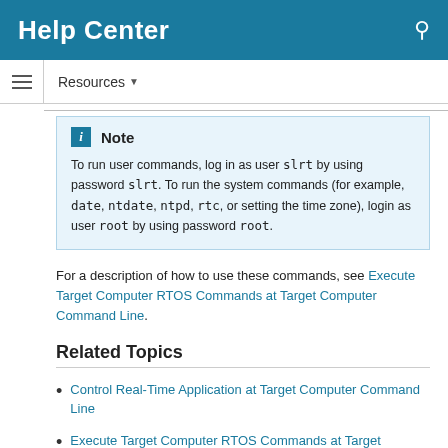Help Center
Resources
Note
To run user commands, log in as user slrt by using password slrt. To run the system commands (for example, date, ntdate, ntpd, rtc, or setting the time zone), login as user root by using password root.
For a description of how to use these commands, see Execute Target Computer RTOS Commands at Target Computer Command Line.
Related Topics
Control Real-Time Application at Target Computer Command Line
Execute Target Computer RTOS Commands at Target Computer Command Line